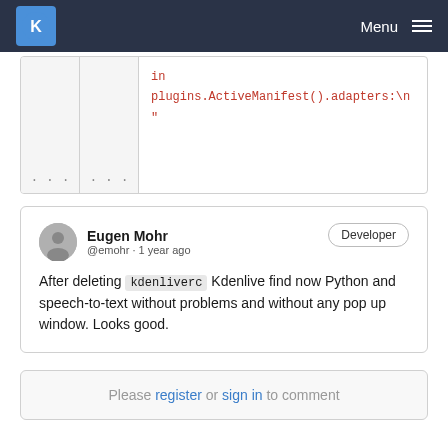KDE Menu
[Figure (screenshot): Code block showing 'in plugins.ActiveManifest().adapters:\n "' in red monospace font with line number gutters and ellipsis indicators]
Eugen Mohr @emohr · 1 year ago Developer After deleting kdenliverc Kdenlive find now Python and speech-to-text without problems and without any pop up window. Looks good.
Please register or sign in to comment